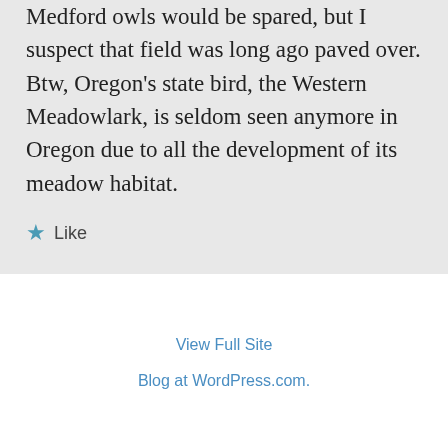Medford owls would be spared, but I suspect that field was long ago paved over. Btw, Oregon's state bird, the Western Meadowlark, is seldom seen anymore in Oregon due to all the development of its meadow habitat.
★ Like
View Full Site
Blog at WordPress.com.